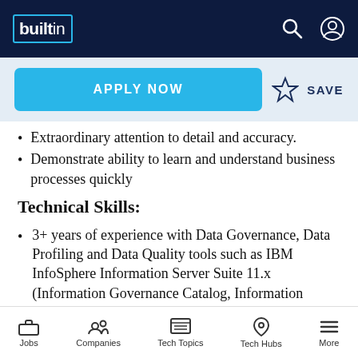builtin
Extraordinary attention to detail and accuracy.
Demonstrate ability to learn and understand business processes quickly
Technical Skills:
3+ years of experience with Data Governance, Data Profiling and Data Quality tools such as IBM InfoSphere Information Server Suite 11.x (Information Governance Catalog, Information Analyzer etc.)/ Collibra/ Informatica/ Talend/
Jobs | Companies | Tech Topics | Tech Hubs | More